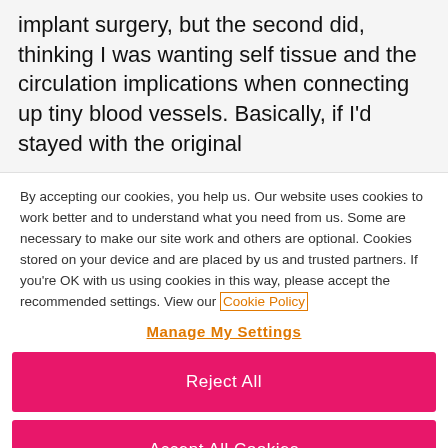implant surgery, but the second did, thinking I was wanting self tissue and the circulation implications when connecting up tiny blood vessels. Basically, if I'd stayed with the original
By accepting our cookies, you help us. Our website uses cookies to work better and to understand what you need from us. Some are necessary to make our site work and others are optional. Cookies stored on your device and are placed by us and trusted partners. If you're OK with us using cookies in this way, please accept the recommended settings. View our Cookie Policy
Manage My Settings
Reject All
Accept All Cookies